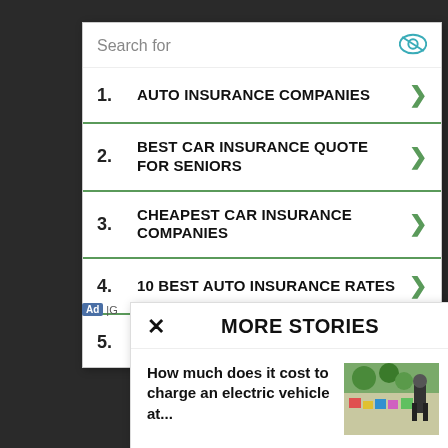Search for
1. AUTO INSURANCE COMPANIES
2. BEST CAR INSURANCE QUOTE FOR SENIORS
3. CHEAPEST CAR INSURANCE COMPANIES
4. 10 BEST AUTO INSURANCE RATES
5. FREE CAR INSURANCE QUOTES
MORE STORIES
How much does it cost to charge an electric vehicle at...
[Figure (photo): Outdoor scene with colorful items and a person standing]